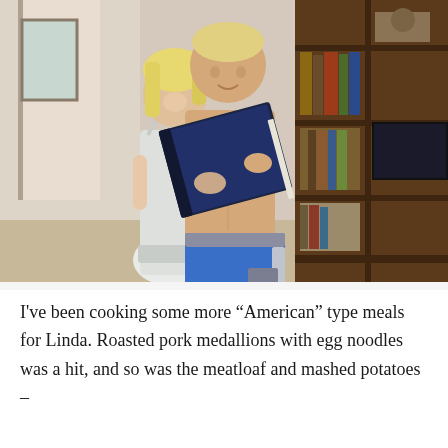[Figure (photo): A tall shirtless man wearing blue board shorts holds open a dark blue binder/book. A shorter blonde woman in a light grey/white sleeveless dress stands behind him slightly. They are indoors with a wooden bookcase and TV visible on the right side background.]
I've been cooking some more “American” type meals for Linda. Roasted pork medallions with egg noodles was a hit, and so was the meatloaf and mashed potatoes –